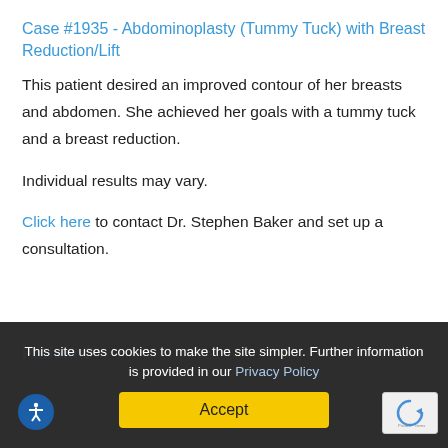Case #1935 - Abdominoplasty (Tummy Tuck) with Breast Reduction/Lift
This patient desired an improved contour of her breasts and abdomen. She achieved her goals with a tummy tuck and a breast reduction.
Individual results may vary.
Click here to contact Dr. Stephen Baker and set up a consultation.
This site uses cookies to make the site simpler. Further information is provided in our Privacy Policy
Patient 7
Accept